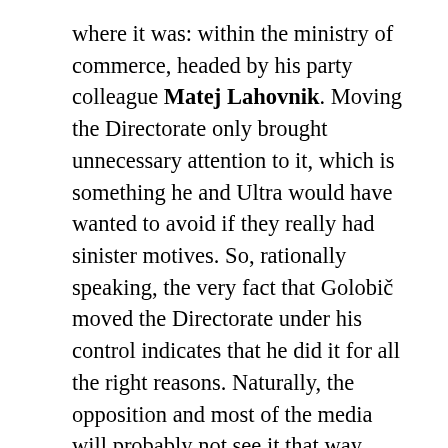where it was: within the ministry of commerce, headed by his party colleague Matej Lahovnik. Moving the Directorate only brought unnecessary attention to it, which is something he and Ultra would have wanted to avoid if they really had sinister motives. So, rationally speaking, the very fact that Golobič moved the Directorate under his control indicates that he did it for all the right reasons. Naturally, the opposition and most of the media will probably not see it that way, which means that minister of science will have to weather that one out and hope that the message will somehow get through. It would help, of course, if Ultra indeed doesn't do business with Golobič's ministry, although legally there is nothing that can prevent it from applying for tenders. A company becomes illegible for doing business with the government only when a public official owns 20% share or higher. Gregor Golobič, as noted above,